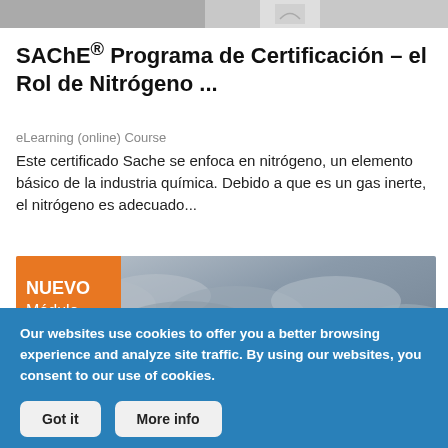[Figure (photo): Top image strip showing partial photo thumbnails]
SAChE® Programa de Certificación – el Rol de Nitrógeno ...
eLearning (online) Course
Este certificado Sache se enfoca en nitrógeno, un elemento básico de la industria química. Debido a que es un gas inerte, el nitrógeno es adecuado...
[Figure (photo): Course module image with stormy sky background and yellow road sign, with an orange ribbon badge labeled NUEVO Módulo]
Our websites use cookies to offer you a better browsing experience and analyze site traffic. By using our websites, you consent to our use of cookies.